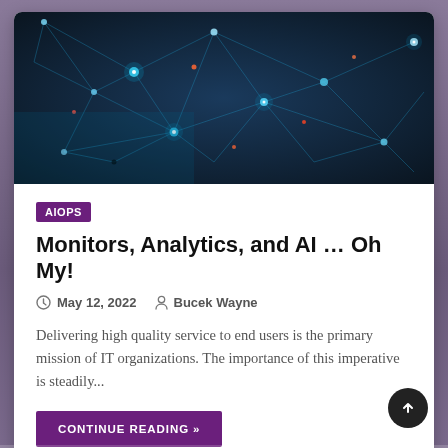[Figure (photo): Abstract digital network visualization with glowing nodes and connecting lines on dark blue background]
AIOPS
Monitors, Analytics, and AI … Oh My!
May 12, 2022   Bucek Wayne
Delivering high quality service to end users is the primary mission of IT organizations. The importance of this imperative is steadily...
CONTINUE READING »